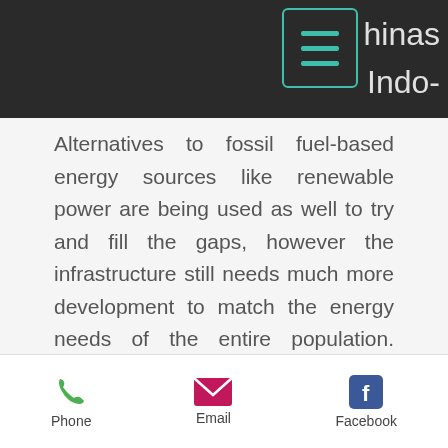...hinas Indo-
Alternatives to fossil fuel-based energy sources like renewable power are being used as well to try and fill the gaps, however the infrastructure still needs much more development to match the energy needs of the entire population. Currently the goal is still to try and get 20% of China to be run on renewables by 2025. However even existing renewable energy infrastructure has underperformed this year, due to the late start of the rainy season reducing Chinas hydropower
Phone   Email   Facebook